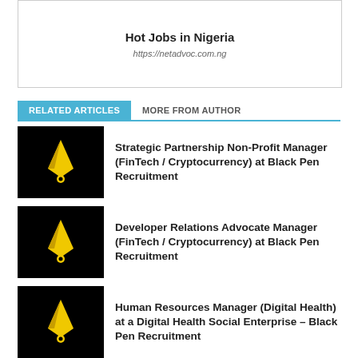Hot Jobs in Nigeria
https://netadvoc.com.ng
RELATED ARTICLES
MORE FROM AUTHOR
[Figure (logo): Black pen logo on black background - yellow pen nib icon]
Strategic Partnership Non-Profit Manager (FinTech / Cryptocurrency) at Black Pen Recruitment
[Figure (logo): Black pen logo on black background - yellow pen nib icon]
Developer Relations Advocate Manager (FinTech / Cryptocurrency) at Black Pen Recruitment
[Figure (logo): Black pen logo on black background - yellow pen nib icon]
Human Resources Manager (Digital Health) at a Digital Health Social Enterprise – Black Pen Recruitment